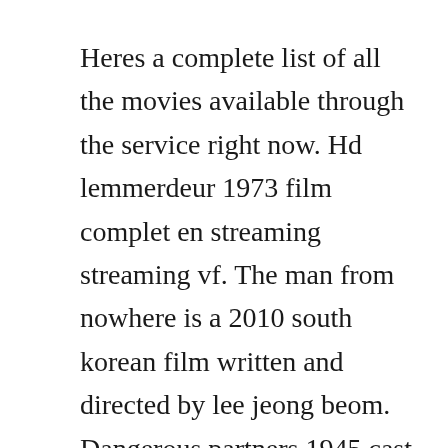Heres a complete list of all the movies available through the service right now. Hd lemmerdeur 1973 film complet en streaming streaming vf. The man from nowhere is a 2010 south korean film written and directed by lee jeong beom. Dangerous partners 1945 cast and crew credits, including actors, actresses, directors, writers and more. The macklemore skewering, hoverboards, and homeappliance partnership were, anyway, just the trappings of. Cahn with james craig, signe hasso, edmund gwenn, audrey totter, year. Jan